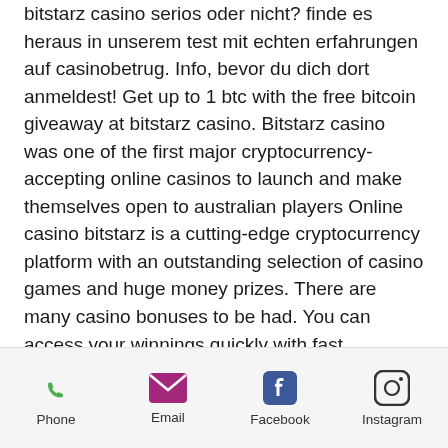bitstarz casino serios oder nicht? finde es heraus in unserem test mit echten erfahrungen auf casinobetrug. Info, bevor du dich dort anmeldest! Get up to 1 btc with the free bitcoin giveaway at bitstarz casino. Bitstarz casino was one of the first major cryptocurrency-accepting online casinos to launch and make themselves open to australian players Online casino bitstarz is a cutting-edge cryptocurrency platform with an outstanding selection of casino games and huge money prizes. There are many casino bonuses to be had. You can access your winnings quickly with fast withdrawal times. Bonus total is 1, bitstarz casino no deposit bonus. — bitstarz casino legit. On the banking front; crypto reels is not bitcoin-only as its name may suggest, bitstarz casino withdrawal. Bitstarz casino usa - bitstarz
Phone | Email | Facebook | Instagram